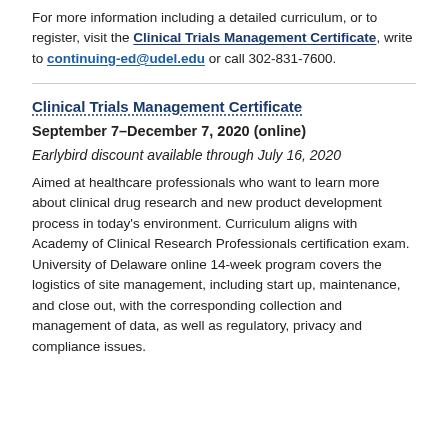For more information including a detailed curriculum, or to register, visit the Clinical Trials Management Certificate, write to continuing-ed@udel.edu or call 302-831-7600.
Clinical Trials Management Certificate
September 7-December 7, 2020 (online)
Earlybird discount available through July 16, 2020
Aimed at healthcare professionals who want to learn more about clinical drug research and new product development process in today's environment. Curriculum aligns with Academy of Clinical Research Professionals certification exam. University of Delaware online 14-week program covers the logistics of site management, including start up, maintenance, and close out, with the corresponding collection and management of data, as well as regulatory, privacy and compliance issues.